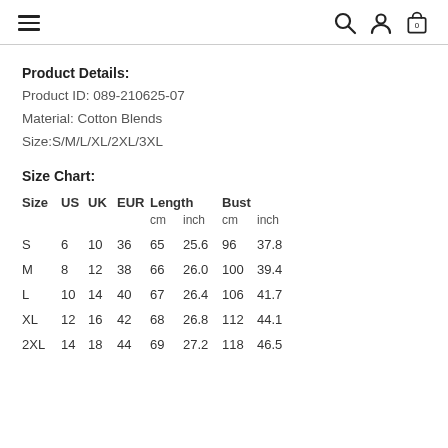Navigation bar with hamburger menu, search, account, and cart icons
Product Details:
Product ID: 089-210625-07
Material: Cotton Blends
Size:S/M/L/XL/2XL/3XL
Size Chart:
| Size | US | UK | EUR | Length cm | Length inch | Bust cm | Bust inch |
| --- | --- | --- | --- | --- | --- | --- | --- |
| S | 6 | 10 | 36 | 65 | 25.6 | 96 | 37.8 |
| M | 8 | 12 | 38 | 66 | 26.0 | 100 | 39.4 |
| L | 10 | 14 | 40 | 67 | 26.4 | 106 | 41.7 |
| XL | 12 | 16 | 42 | 68 | 26.8 | 112 | 44.1 |
| 2XL | 14 | 18 | 44 | 69 | 27.2 | 118 | 46.5 |